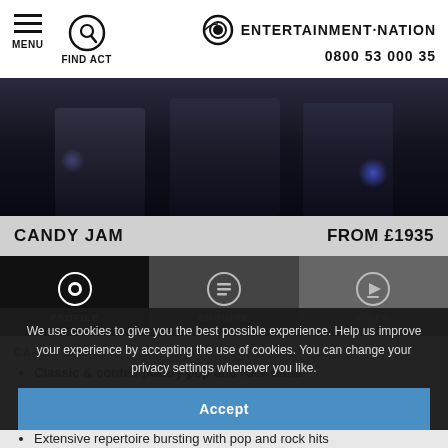MENU  FIND ACT  ENTERTAINMENT·NATION  0800 53 000 35
[Figure (photo): Dark stage performance photo showing silhouettes of musicians with blue stage lighting]
CANDY JAM  FROM £1935
PROFILE  ENQUIRE  VIDEO
CANDY JAM
Classic & contemporary pop and rock band
5-6 piece band
Male and female lead vocalists
Extensive repertoire bursting with pop and rock hits
We use cookies to give you the best possible experience. Help us improve your experience by accepting the use of cookies. You can change your privacy settings whenever you like.
Accept